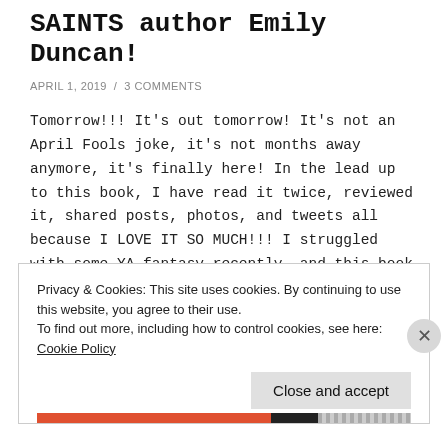SAINTS author Emily Duncan!
APRIL 1, 2019  /  3 COMMENTS
Tomorrow!!! It's out tomorrow! It's not an April Fools joke, it's not months away anymore, it's finally here! In the lead up to this book, I have read it twice, reviewed it, shared posts, photos, and tweets all because I LOVE IT SO MUCH!!! I struggled with some YA fantasy recently, and this book made … Continue reading
Privacy & Cookies: This site uses cookies. By continuing to use this website, you agree to their use.
To find out more, including how to control cookies, see here: Cookie Policy
Close and accept